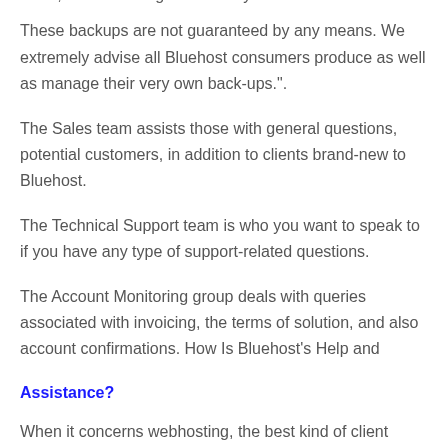week, as well as regular monthly basis.
These backups are not guaranteed by any means. We extremely advise all Bluehost consumers produce as well as manage their very own back-ups.".
The Sales team assists those with general questions, potential customers, in addition to clients brand-new to Bluehost.
The Technical Support team is who you want to speak to if you have any type of support-related questions.
The Account Monitoring group deals with queries associated with invoicing, the terms of solution, and also account confirmations. How Is Bluehost's Help and
Assistance?
When it concerns webhosting, the best kind of client support is one